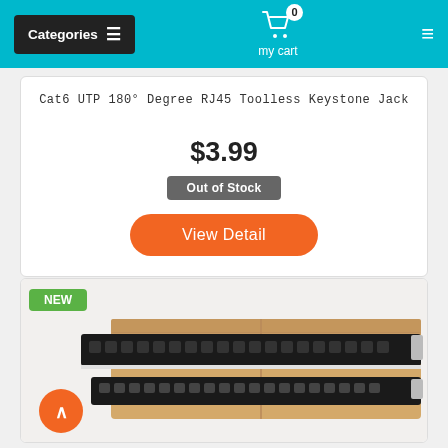Categories  my cart 0
Cat6 UTP 180° Degree RJ45 Toolless Keystone Jack
$3.99
Out of Stock
View Detail
[Figure (photo): Photo of a black patch panel (24-port keystone panel) resting on a cardboard box, with a green NEW badge in the top-left corner and an orange up-arrow navigation button at the bottom-left.]